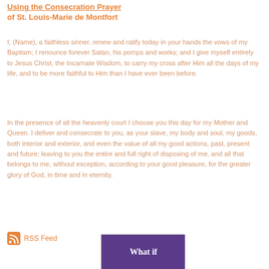Using the Consecration Prayer of St. Louis-Marie de Montfort
I, (Name), a faithless sinner, renew and ratify today in your hands the vows of my Baptism; I renounce forever Satan, his pomps and works; and I give myself entirely to Jesus Christ, the Incarnate Wisdom, to carry my cross after Him all the days of my life, and to be more faithful to Him than I have ever been before.
In the presence of all the heavenly court I choose you this day for my Mother and Queen. I deliver and consecrate to you, as your slave, my body and soul, my goods, both interior and exterior, and even the value of all my good actions, past, present and future; leaving to you the entire and full right of disposing of me, and all that belongs to me, without exception, according to your good pleasure, for the greater glory of God, in time and in eternity.
RSS Feed
[Figure (illustration): Book cover image with purple background showing 'What if' text in white]